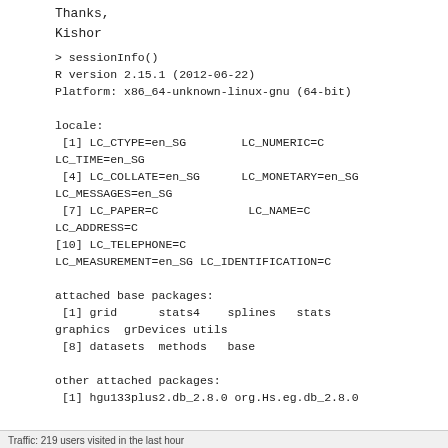Thanks,
Kishor
> sessionInfo()
R version 2.15.1 (2012-06-22)
Platform: x86_64-unknown-linux-gnu (64-bit)

locale:
 [1] LC_CTYPE=en_SG        LC_NUMERIC=C
LC_TIME=en_SG
 [4] LC_COLLATE=en_SG      LC_MONETARY=en_SG
LC_MESSAGES=en_SG
 [7] LC_PAPER=C             LC_NAME=C
LC_ADDRESS=C
[10] LC_TELEPHONE=C
LC_MEASUREMENT=en_SG LC_IDENTIFICATION=C

attached base packages:
 [1] grid      stats4    splines   stats
graphics  grDevices utils
 [8] datasets  methods   base

other attached packages:
 [1] hgu133plus2.db_2.8.0 org.Hs.eg.db_2.8.0
Traffic: 219 users visited in the last hour